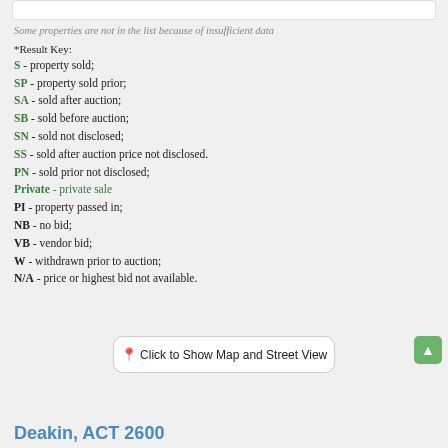Some properties are not in the list because of insufficient data
*Result Key:
S - property sold;
SP - property sold prior;
SA - sold after auction;
SB - sold before auction;
SN - sold not disclosed;
SS - sold after auction price not disclosed.
PN - sold prior not disclosed;
Private - private sale
PI - property passed in;
NB - no bid;
VB - vendor bid;
W - withdrawn prior to auction;
N/A - price or highest bid not available.
Click to Show Map and Street View
Deakin, ACT 2600